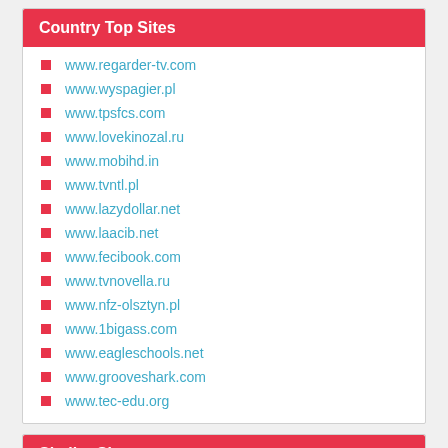Country Top Sites
www.regarder-tv.com
www.wyspagier.pl
www.tpsfcs.com
www.lovekinozal.ru
www.mobihd.in
www.tvntl.pl
www.lazydollar.net
www.laacib.net
www.fecibook.com
www.tvnovella.ru
www.nfz-olsztyn.pl
www.1bigass.com
www.eagleschools.net
www.grooveshark.com
www.tec-edu.org
Similar Sites